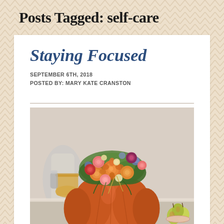Posts Tagged: self-care
Staying Focused
SEPTEMBER 6TH, 2018
POSTED BY: MARY KATE CRANSTON
[Figure (photo): A floral arrangement of colorful roses and wildflowers placed inside an orange pumpkin on a table setting with pears and a glass pitcher of juice in the background.]